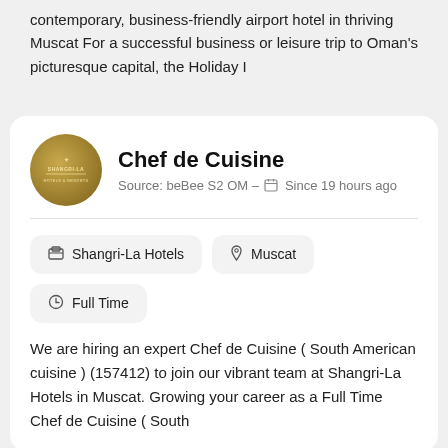contemporary, business-friendly airport hotel in thriving Muscat For a successful business or leisure trip to Oman's picturesque capital, the Holiday I
Chef de Cuisine
Source: beBee S2 OM – Since 19 hours ago
Shangri-La Hotels
Muscat
Full Time
We are hiring an expert Chef de Cuisine ( South American cuisine ) (157412) to join our vibrant team at Shangri-La Hotels in Muscat. Growing your career as a Full Time Chef de Cuisine ( South